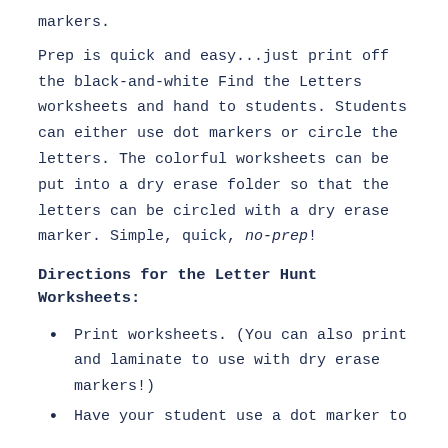markers.
Prep is quick and easy...just print off the black-and-white Find the Letters worksheets and hand to students. Students can either use dot markers or circle the letters. The colorful worksheets can be put into a dry erase folder so that the letters can be circled with a dry erase marker. Simple, quick, no-prep!
Directions for the Letter Hunt Worksheets:
Print worksheets. (You can also print and laminate to use with dry erase markers!)
Have your student use a dot marker to